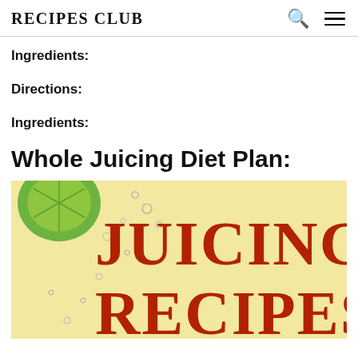RECIPES CLUB
Ingredients:
Directions:
Ingredients:
Whole Juicing Diet Plan:
[Figure (illustration): Book cover for 'Juicing Recipes' with large red serif text on cream/yellow background with a green lime and bubbles]